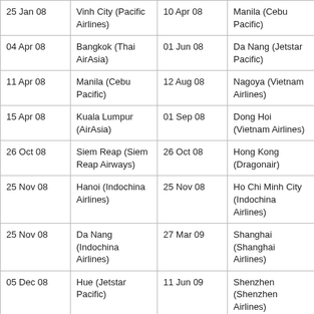| 25 Jan 08 | Vinh City (Pacific Airlines) | 10 Apr 08 | Manila (Cebu Pacific) |
| 04 Apr 08 | Bangkok (Thai AirAsia) | 01 Jun 08 | Da Nang (Jetstar Pacific) |
| 11 Apr 08 | Manila (Cebu Pacific) | 12 Aug 08 | Nagoya (Vietnam Airlines) |
| 15 Apr 08 | Kuala Lumpur (AirAsia) | 01 Sep 08 | Dong Hoi (Vietnam Airlines) |
| 26 Oct 08 | Siem Reap (Siem Reap Airways) | 26 Oct 08 | Hong Kong (Dragonair) |
| 25 Nov 08 | Hanoi (Indochina Airlines) | 25 Nov 08 | Ho Chi Minh City (Indochina Airlines) |
| 25 Nov 08 | Da Nang (Indochina Airlines) | 27 Mar 09 | Shanghai (Shanghai Airlines) |
| 05 Dec 08 | Hue (Jetstar Pacific) | 11 Jun 09 | Shenzhen (Shenzhen Airlines) |
| 01 Jun 09 | Tokyo Narita (Northwest) | 10 Oct 09 | Fukuoka (Vietnam Airlines) |
| 28 Jul 09 | Phnom Penh | 24 Oct 09 | Tuy Hoa (Vietnam |